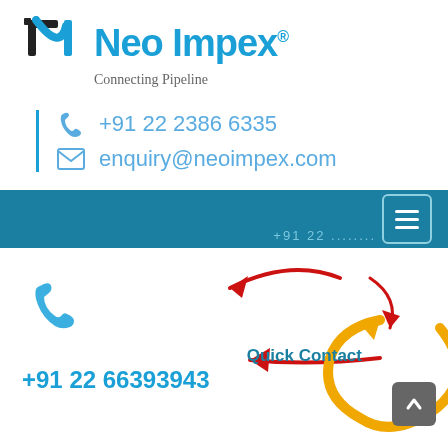[Figure (logo): Neo Impex logo with stylized N icon in black and blue, company name in blue, tagline 'Connecting Pipeline' in gray]
+91 22 2386 6335
enquiry@neoimpex.com
[Figure (screenshot): Teal/dark blue navigation bar with hamburger menu icon on right and phone number partially visible]
[Figure (infographic): Bottom section showing blue phone icon, phone number +91 22 66393943, red arrows pointing left, and a circular yellow arrow with 'Quick Contact' text. Gray scroll-to-top button at bottom right.]
+91 22 66393943
Quick Contact